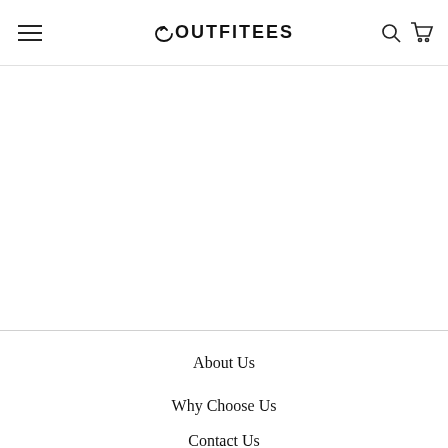OUTFITEES
About Us
Why Choose Us
Contact Us